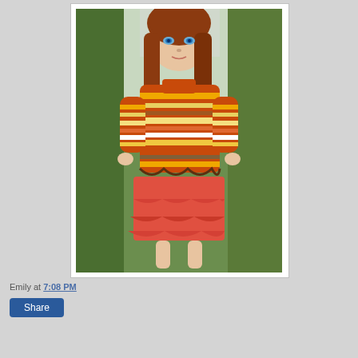[Figure (photo): A collector doll with red/auburn long hair, blue eyes, wearing a multicolor striped knit sweater in orange, yellow, brown, and white, paired with a coral/red ruffled skirt. The doll is posed outdoors in front of green hedges.]
Emily at 7:08 PM
Share